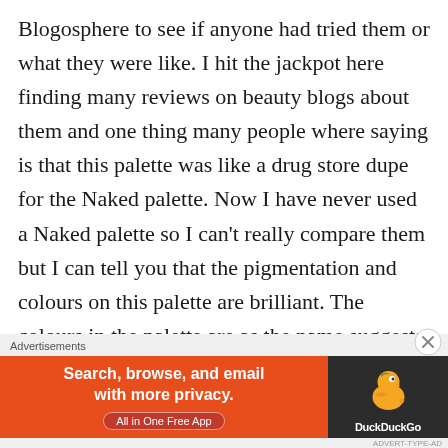Blogosphere to see if anyone had tried them or what they were like. I hit the jackpot here finding many reviews on beauty blogs about them and one thing many people where saying is that this palette was like a drug store dupe for the Naked palette. Now I have never used a Naked palette so I can't really compare them but I can tell you that the pigmentation and colours on this palette are brilliant. The colours in the palette are as the name suggests very nude and neutral toned with mostly shimmer and a couple of matt shadows. I will say that the brush in the palette is not the best and I only really use it for maybe
Advertisements
[Figure (other): DuckDuckGo advertisement banner. Orange background on left side with bold white text 'Search, browse, and email with more privacy.' and button 'All in One Free App'. Dark right panel with DuckDuckGo duck logo and 'DuckDuckGo' text in white.]